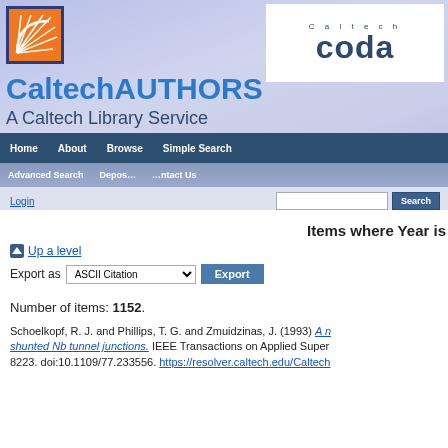[Figure (logo): CaltechAUTHORS / Caltech CODA website header banner with orange Caltech logo, Coda branding, site title, and navigation bars]
CaltechAUTHORS
A Caltech Library Service
Home | About | Browse | Simple Search | Advanced Search | Deposit | Contact Us | Login | Search
Items where Year is
Up a level
Export as ASCII Citation Export
Number of items: 1152.
Schoelkopf, R. J. and Phillips, T. G. and Zmuidzinas, J. (1993) A [title cut off] shunted Nb tunnel junctions. IEEE Transactions on Applied Superconductivity [cut off] 8223. doi:10.1109/77.233556. https://resolver.caltech.edu/Caltech[cut off]